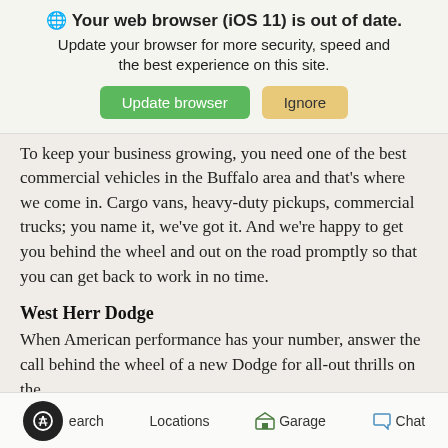🌐 Your web browser (iOS 11) is out of date. Update your browser for more security, speed and the best experience on this site.
To keep your business growing, you need one of the best commercial vehicles in the Buffalo area and that's where we come in. Cargo vans, heavy-duty pickups, commercial trucks; you name it, we've got it. And we're happy to get you behind the wheel and out on the road promptly so that you can get back to work in no time.
West Herr Dodge
When American performance has your number, answer the call behind the wheel of a new Dodge for all-out thrills on the
Search   Locations   Garage   Chat